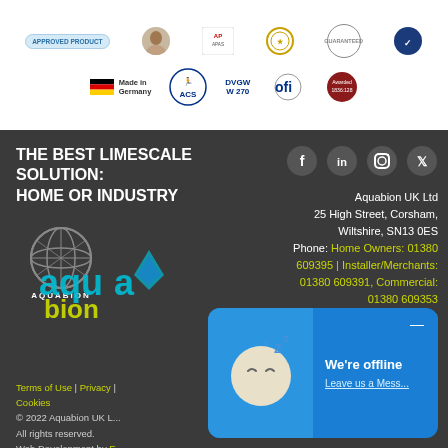[Figure (logo): Top banner with certification badges: Approved Product, human image, APAS logo, seal, Guaranteed badge, circular badge, Made in Germany, ACS, DVGW W270, ofi, round red seal]
THE BEST LIMESCALE SOLUTION:
HOME OR INDUSTRY
[Figure (logo): Aquabion globe logo with AQUABION text]
[Figure (logo): Aquabion coloured word logo in cyan/green]
Aquabion UK Ltd
25 High Street, Corsham,
Wiltshire, SN13 0ES
Phone: Home Owners: 01380 609395 | Installer/Merchants: 01380 609391, Commercial: 01380 609353
Email: info@aquabion-uk.com
[Figure (logo): Social media icons: Facebook, LinkedIn, Instagram, Twitter]
Terms of Use | Privacy | Cookies
© 2022 Aquabion UK Ltd. All rights reserved.
Web Development by E... Web Design.
[Figure (screenshot): Chat popup showing offline status with sleeping moon emoji and 'We're offline / Leave us a Mess...' text]